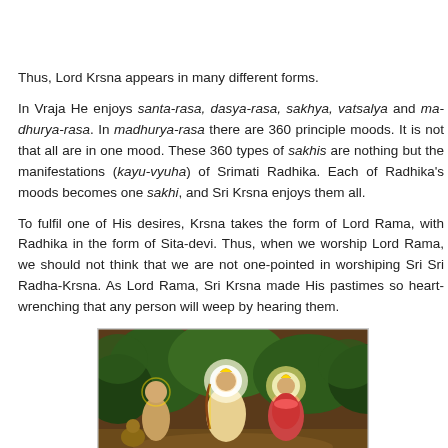Thus, Lord Krsna appears in many different forms.
In Vraja He enjoys santa-rasa, dasya-rasa, sakhya, vatsalya and madhurya-rasa. In madhurya-rasa there are 360 principle moods. It is not that all are in one mood. These 360 types of sakhis are nothing but the manifestations (kayu-vyuha) of Srimati Radhika. Each of Radhika's moods becomes one sakhi, and Sri Krsna enjoys them all.
To fulfil one of His desires, Krsna takes the form of Lord Rama, with Radhika in the form of Sita-devi. Thus, when we worship Lord Rama, should not think that we are not one-pointed in worshiping Sri Sri Radha-Krsna. As Lord Rama, Sri Krsna made His pastimes so heart-wrenching that any person will weep by hearing them.
[Figure (illustration): A devotional painting depicting Lord Rama and Sita-devi in a forest setting, with another figure visible. The figures have golden halos/glowing auras against a forest backdrop with rich colors of orange, red, and green.]